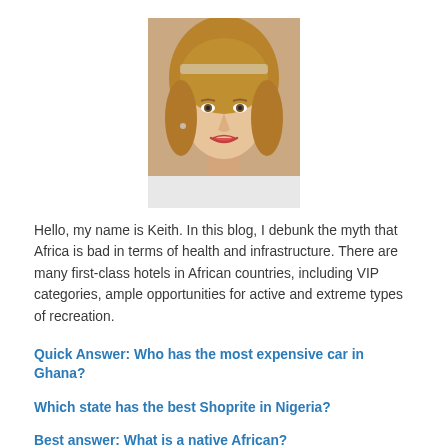[Figure (photo): Portrait photo of a young woman with blonde hair, smiling, wearing a white top, centered at top of page]
Hello, my name is Keith. In this blog, I debunk the myth that Africa is bad in terms of health and infrastructure. There are many first-class hotels in African countries, including VIP categories, ample opportunities for active and extreme types of recreation.
Quick Answer: Who has the most expensive car in Ghana?
Which state has the best Shoprite in Nigeria?
Best answer: What is a native African?
What is the biggest forest in Nigeria?